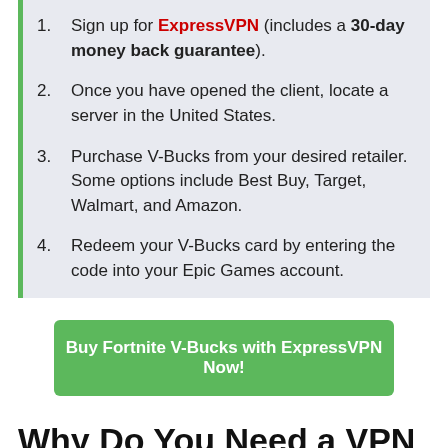Sign up for ExpressVPN (includes a 30-day money back guarantee).
Once you have opened the client, locate a server in the United States.
Purchase V-Bucks from your desired retailer. Some options include Best Buy, Target, Walmart, and Amazon.
Redeem your V-Bucks card by entering the code into your Epic Games account.
Buy Fortnite V-Bucks with ExpressVPN Now!
Why Do You Need a VPN to Save